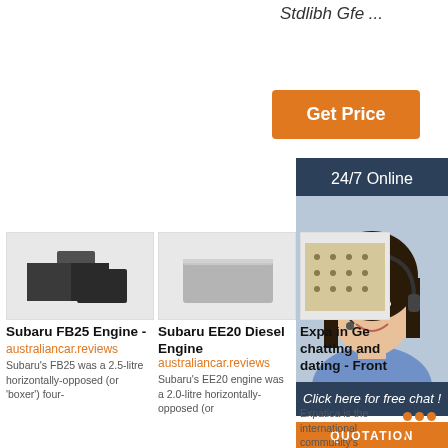Stdlibh Gfe ...
Get Price
24/7 Online
[Figure (photo): Customer service agent with headset smiling]
Click here for free chat !
QUOTATION
[Figure (photo): Dark graphite/black cube blocks product image]
Subaru FB25 Engine - australiancar.reviews
Subaru's FB25 was a 2.5-litre horizontally-opposed (or 'boxer') four-
[Figure (photo): Grey rectangular foam/brick product image]
Subaru EE20 Diesel Engine australiancar.reviews
Subaru's EE20 engine was a 2.0-litre horizontally-opposed (or
[Figure (photo): Partial product image with dotted pattern]
Expa in Ge chatting and dating - Front
Expatica is the international community's online home away from home...